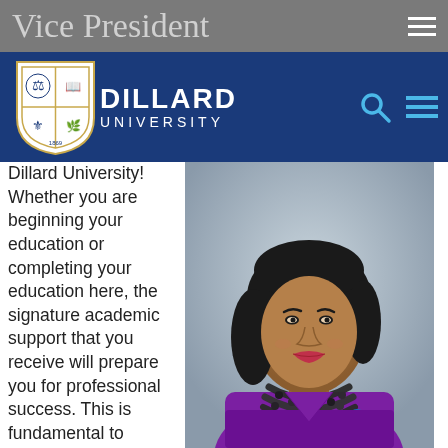Vice President
[Figure (logo): Dillard University logo with shield/crest and text 'DILLARD UNIVERSITY' on a blue navigation bar]
Dillard University! Whether you are beginning your education or completing your education here, the signature academic support that you receive will prepare you for professional success. This is fundamental to Dillard's mission which is to cultivate leaders who live ethically, think and communicate
[Figure (photo): Portrait photo of a woman in a purple outfit with a black beaded necklace, smiling, against a grey-blue background]